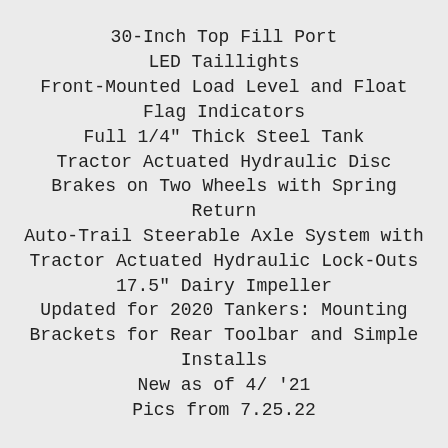30-Inch Top Fill Port
LED Taillights
Front-Mounted Load Level and Float Flag Indicators
Full 1/4" Thick Steel Tank
Tractor Actuated Hydraulic Disc Brakes on Two Wheels with Spring Return
Auto-Trail Steerable Axle System with Tractor Actuated Hydraulic Lock-Outs
17.5" Dairy Impeller
Updated for 2020 Tankers: Mounting Brackets for Rear Toolbar and Simple Installs
New as of 4/ '21
Pics from 7.25.22